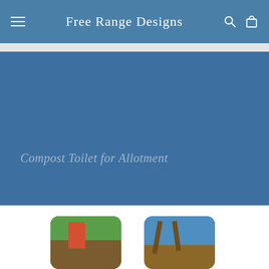Free Range Designs
Compost Toilet for Allotment
[Figure (photo): Two product thumbnail photos at bottom of page: left shows a man in red shirt near wooden structure with green background, right shows a wooden structure with blue sky background. Both have rounded corners.]